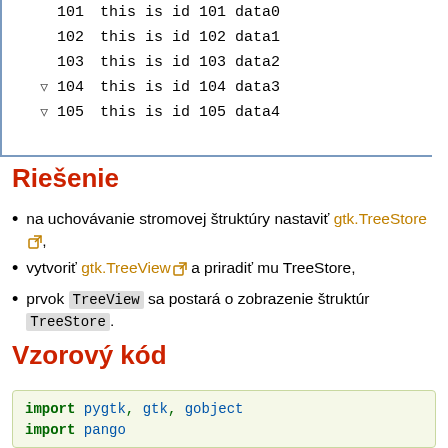[Figure (screenshot): Tree table widget showing rows: 101 (partial, top), 102 this is id 102 data1, 103 this is id 103 data2, ▽ 104 this is id 104 data3, ▽ 105 this is id 105 data4]
Riešenie
na uchovávanie stromovej štruktúry nastaviť gtk.TreeStore,
vytvoriť gtk.TreeView a priradiť mu TreeStore,
prvok TreeView sa postará o zobrazenie štruktúry TreeStore.
Vzorový kód
import pygtk, gtk, gobject
import pango